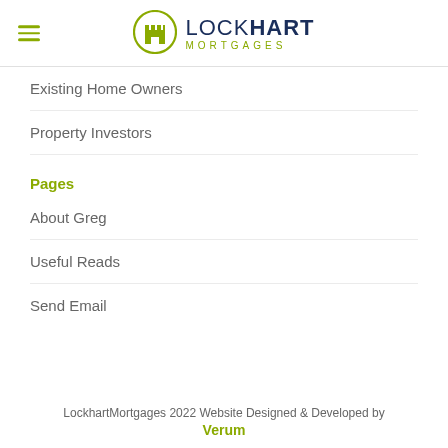[Figure (logo): Lockhart Mortgages logo with castle icon in green circle, LOCKHART in dark navy, MORTGAGES in olive/green below]
Existing Home Owners
Property Investors
Pages
About Greg
Useful Reads
Send Email
LockhartMortgages 2022 Website Designed & Developed by Verum